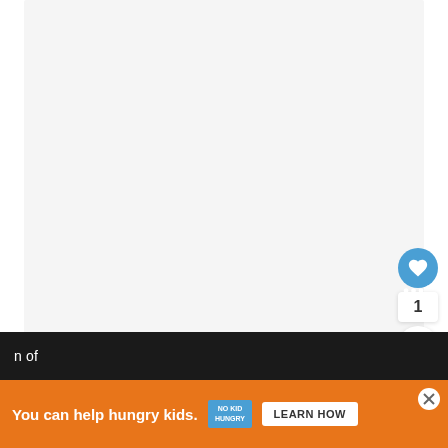[Figure (photo): Large light gray image/photo area placeholder for a shop vacuum product image]
[Figure (other): Blue circular heart/like button with count badge of 1, and white circular share button with share icon]
Shop vacuum:
n of
[Figure (infographic): Orange advertisement banner: 'You can help hungry kids.' with No Kid Hungry logo and LEARN HOW button, with close X button]